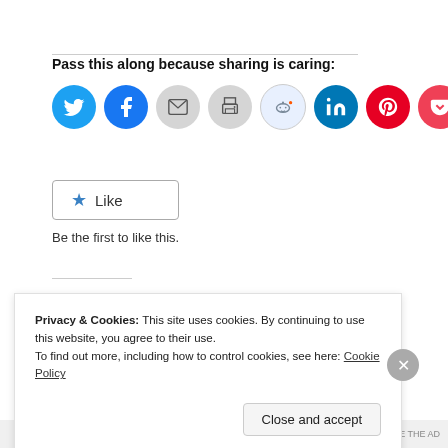Pass this along because sharing is caring:
[Figure (other): Social sharing icons: Twitter, Facebook, Email, Print, Reddit, LinkedIn, Pinterest, Pocket, and a More button]
[Figure (other): Like button with star icon]
Be the first to like this.
Privacy & Cookies: This site uses cookies. By continuing to use this website, you agree to their use.
To find out more, including how to control cookies, see here: Cookie Policy
Close and accept